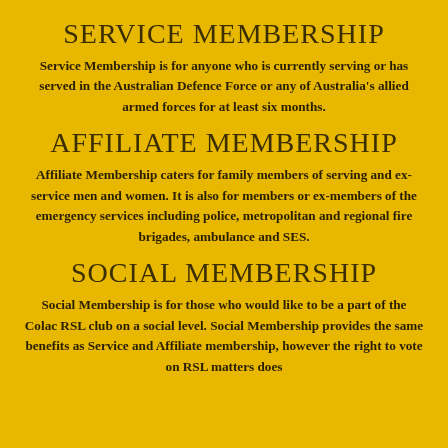SERVICE MEMBERSHIP
Service Membership is for anyone who is currently serving or has served in the Australian Defence Force or any of Australia's allied armed forces for at least six months.
AFFILIATE MEMBERSHIP
Affiliate Membership caters for family members of serving and ex-service men and women. It is also for members or ex-members of the emergency services including police, metropolitan and regional fire brigades, ambulance and SES.
SOCIAL MEMBERSHIP
Social Membership is for those who would like to be a part of the Colac RSL club on a social level. Social Membership provides the same benefits as Service and Affiliate membership, however the right to vote on RSL matters does